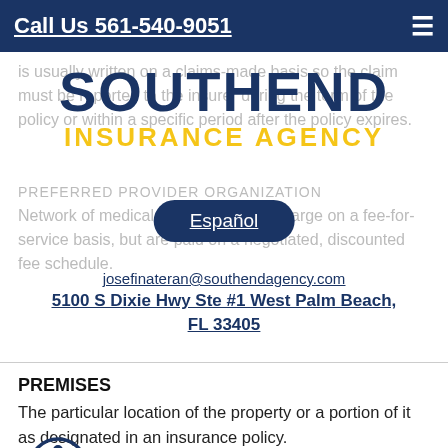Call Us 561-540-9051
[Figure (logo): Southend Insurance Agency logo with SOUTHEND in dark blue large text and INSURANCE AGENCY in yellow text below]
is usually written on a claims-made basis so the claim must be reported to the insurer during the term of the policy or within a specific period after the policy expires.
Español
josefinateran@southendagency.com
5100 S Dixie Hwy Ste #1 West Palm Beach, FL 33405
PREFERRED PROVIDER ORGANIZATION Network of medical providers which charge on a fee-for-service basis, but are paid on a negotiated, discounted fee schedule.
PREMISES
The particular location of the property or a portion of it as designated in an insurance policy.
PREMIUM
The price of an insurance policy, typically